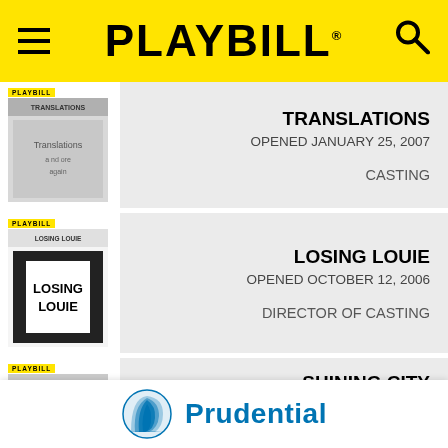PLAYBILL
TRANSLATIONS
OPENED JANUARY 25, 2007
CASTING
LOSING LOUIE
OPENED OCTOBER 12, 2006
DIRECTOR OF CASTING
SHINING CITY
OPENED MAY 09, 2006
CASTING
[Figure (logo): Prudential financial company logo with rock icon and blue text 'Prudential']